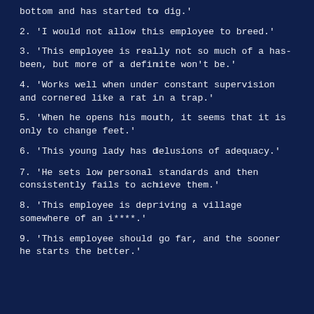bottom and has started to dig.'
2. 'I would not allow this employee to breed.'
3. 'This employee is really not so much of a has-been, but more of a definite won't be.'
4. 'Works well when under constant supervision and cornered like a rat in a trap.'
5. 'When he opens his mouth, it seems that it is only to change feet.'
6. 'This young lady has delusions of adequacy.'
7. 'He sets low personal standards and then consistently fails to achieve them.'
8. 'This employee is depriving a village somewhere of an i****.
9. 'This employee should go far, and the sooner he starts the better.'